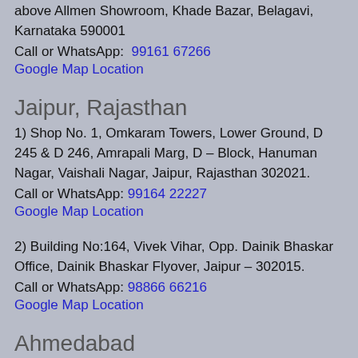above Allmen Showroom, Khade Bazar, Belagavi, Karnataka 590001
Call or WhatsApp: 99161 67266
Google Map Location
Jaipur, Rajasthan
1) Shop No. 1, Omkaram Towers, Lower Ground, D 245 & D 246, Amrapali Marg, D – Block, Hanuman Nagar, Vaishali Nagar, Jaipur, Rajasthan 302021.
Call or WhatsApp: 99164 22227
Google Map Location
2) Building No:164, Vivek Vihar, Opp. Dainik Bhaskar Office, Dainik Bhaskar Flyover, Jaipur – 302015.
Call or WhatsApp: 98866 66216
Google Map Location
Ahmedabad